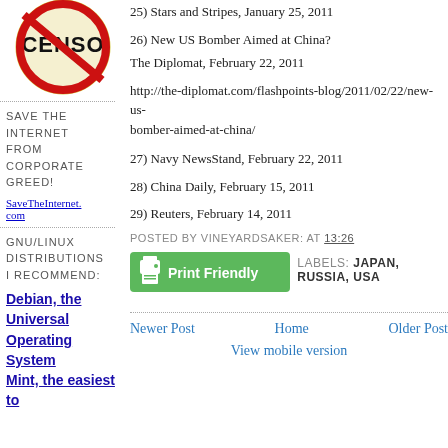[Figure (illustration): Censorship image showing a stamp or seal with the word CENSOR and a red circle with a slash through it]
25) Stars and Stripes, January 25, 2011
26) New US Bomber Aimed at China?
The Diplomat, February 22, 2011
http://the-diplomat.com/flashpoints-blog/2011/02/22/new-us-bomber-aimed-at-china/
27) Navy NewsStand, February 22, 2011
28) China Daily, February 15, 2011
29) Reuters, February 14, 2011
POSTED BY VINEYARDSAKER: AT 13:26
[Figure (other): Print Friendly green button with printer icon]
LABELS: JAPAN, RUSSIA, USA
SAVE THE INTERNET FROM CORPORATE GREED!
SaveTheInternet.com
GNU/LINUX DISTRIBUTIONS I RECOMMEND:
Debian, the Universal Operating System Mint, the easiest to
Newer Post
Home
Older Post
View mobile version